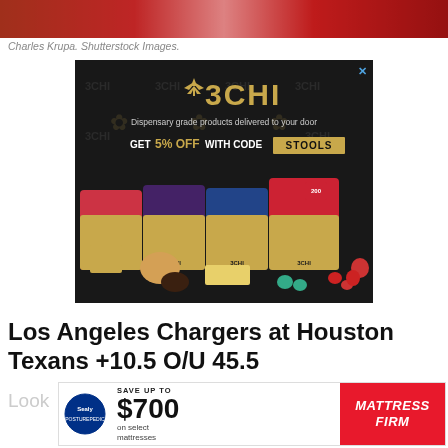[Figure (photo): Partial photo of a person in a red outfit at the top of the page (Charles Krupa / Shutterstock Images)]
Charles Krupa. Shutterstock Images.
[Figure (infographic): 3CHI advertisement: Dispensary grade products delivered to your door. GET 5% OFF WITH CODE STOOLS. Shows gold cannabis product pouches and edibles on dark background.]
Los Angeles Chargers at Houston Texans +10.5 O/U 45.5
Look
[Figure (infographic): Mattress Firm advertisement: Save up to $700 on select mattresses. Sealy logo on left, red Mattress Firm branding on right.]